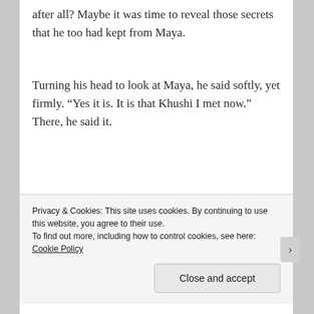after all? Maybe it was time to reveal those secrets that he too had kept from Maya.
Turning his head to look at Maya, he said softly, yet firmly. “Yes it is. It is that Khushi I met now.” There, he said it.
Privacy & Cookies: This site uses cookies. By continuing to use this website, you agree to their use.
To find out more, including how to control cookies, see here: Cookie Policy
Close and accept